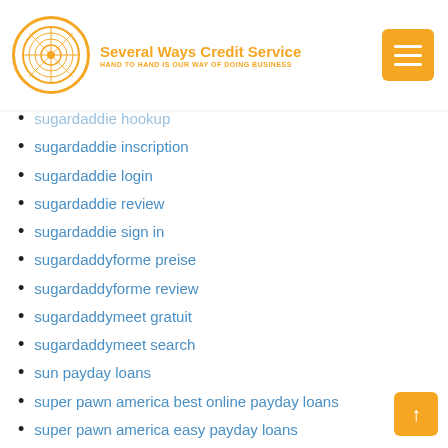Several Ways Credit Service – HAND TO HAND IS OUR WAY OF DOING BUSINESS
sugardaddie hookup
sugardaddie inscription
sugardaddie login
sugardaddie review
sugardaddie sign in
sugardaddyforme preise
sugardaddyforme review
sugardaddymeet gratuit
sugardaddymeet search
sun payday loans
super pawn america best online payday loans
super pawn america easy payday loans
SuperiorPapers
supersinglesdating.com online-dating-site-for-free
sure advance payday loans
swapfinder dating
swapfinder mobile site
swapfinder web
sweden mail order brides
sweet pea dating